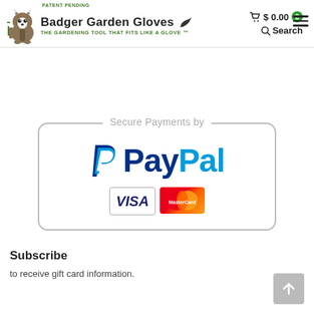[Figure (logo): Badger Garden Gloves logo with cartoon badger mascot, brand name 'Badger Garden Gloves' and tagline 'The Gardening Tool That Fits Like A Glove TM', with 'Patent Pending' text above. Header also includes cart icon showing $0.00 with green badge showing 0, a search icon with 'Search' text, and a hamburger menu icon.]
[Figure (logo): Secure Payments by PayPal badge with rounded rectangle border, PayPal P logo and PayPal wordmark in blue, with Visa and MasterCard logos below.]
Subscribe
to receive gift card information.